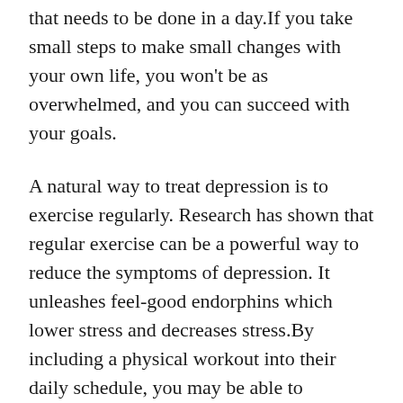that needs to be done in a day.If you take small steps to make small changes with your own life, you won't be as overwhelmed, and you can succeed with your goals.
A natural way to treat depression is to exercise regularly. Research has shown that regular exercise can be a powerful way to reduce the symptoms of depression. It unleashes feel-good endorphins which lower stress and decreases stress.By including a physical workout into their daily schedule, you may be able to successfully lessen the symptoms of depression.
If you are looking for relief from feelings of depression, reach for a good book. A book provides a